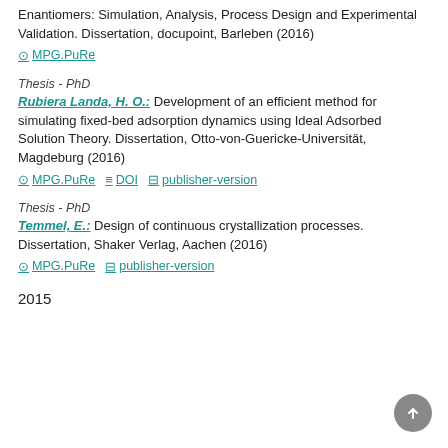Enantiomers: Simulation, Analysis, Process Design and Experimental Validation. Dissertation, docupoint, Barleben (2016)
MPG.PuRe
Thesis - PhD
Rubiera Landa, H. O.: Development of an efficient method for simulating fixed-bed adsorption dynamics using Ideal Adsorbed Solution Theory. Dissertation, Otto-von-Guericke-Universität, Magdeburg (2016)
MPG.PuRe  DOI  publisher-version
Thesis - PhD
Temmel, E.: Design of continuous crystallization processes. Dissertation, Shaker Verlag, Aachen (2016)
MPG.PuRe  publisher-version
2015